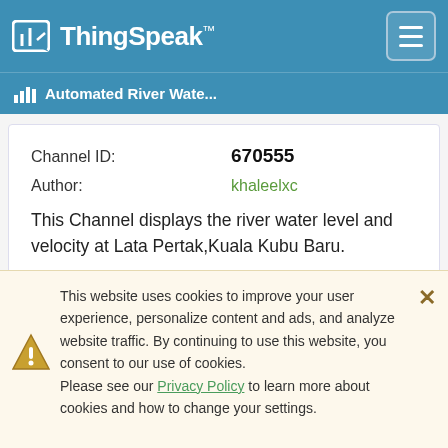ThingSpeak™
Automated River Wate...
Channel ID:   670555
Author:   khaleelxc
This Channel displays the river water level and velocity at Lata Pertak,Kuala Kubu Baru.
hc_sr04_nodemcu_river water level monitoring
This website uses cookies to improve your user experience, personalize content and ads, and analyze website traffic. By continuing to use this website, you consent to our use of cookies. Please see our Privacy Policy to learn more about cookies and how to change your settings.